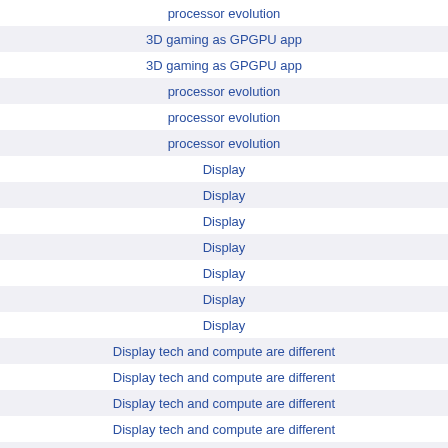processor evolution
3D gaming as GPGPU app
3D gaming as GPGPU app
processor evolution
processor evolution
processor evolution
Display
Display
Display
Display
Display
Display
Display
Display tech and compute are different
Display tech and compute are different
Display tech and compute are different
Display tech and compute are different
Display
Display
Display
Display
Display